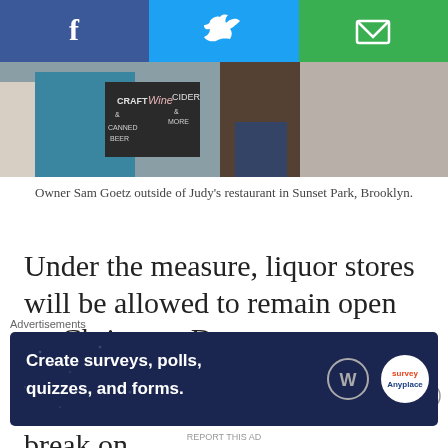[Figure (photo): Social share bar with Facebook, Twitter, and email icons on colored backgrounds (blue, light blue, green)]
[Figure (photo): Photo of Owner Sam Goetz outside of Judy's restaurant in Sunset Park, Brooklyn. A chalkboard menu is visible in the background.]
Owner Sam Goetz outside of Judy's restaurant in Sunset Park, Brooklyn.
Under the measure, liquor stores will be allowed to remain open on Christmas Day.
New Yorkers will also get a break on
Advertisements
[Figure (screenshot): Advertisement banner: 'Create surveys, polls, quizzes, and forms.' with WordPress and Survey Anyplace logos on dark navy background.]